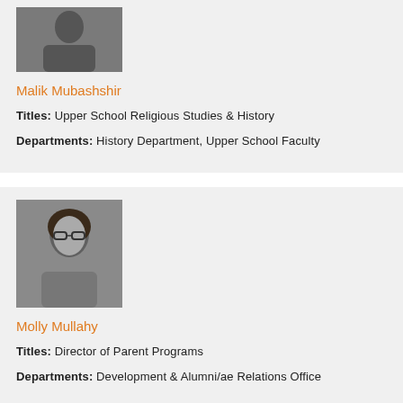[Figure (photo): Headshot photo of Malik Mubashshir, a man in a grey shirt]
Malik Mubashshir
Titles: Upper School Religious Studies & History
Departments: History Department, Upper School Faculty
[Figure (photo): Headshot photo of Molly Mullahy, a woman with glasses and long dark hair]
Molly Mullahy
Titles: Director of Parent Programs
Departments: Development & Alumni/ae Relations Office